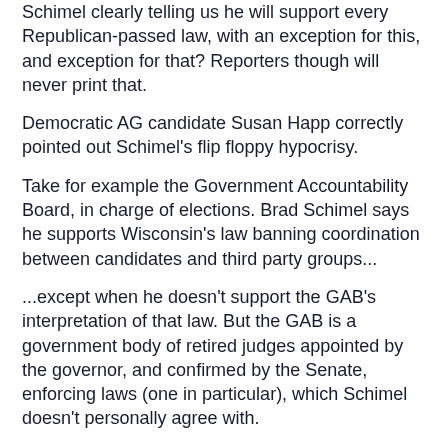Schimel clearly telling us he will support every Republican-passed law, with an exception for this, and exception for that? Reporters though will never print that.
Democratic AG candidate Susan Happ correctly pointed out Schimel's flip floppy hypocrisy.
Take for example the Government Accountability Board, in charge of elections. Brad Schimel says he supports Wisconsin's law banning coordination between candidates and third party groups...
...except when he doesn't support the GAB's interpretation of that law. But the GAB is a government body of retired judges appointed by the governor, and confirmed by the Senate, enforcing laws (one in particular), which Schimel doesn't personally agree with.
The mission of the Board is to ensure accountability in government by enforcing ethics and lobbying laws ... charged with oversight of Wisconsin's campaign finance, elections, ethics, and lobbying laws ... created a